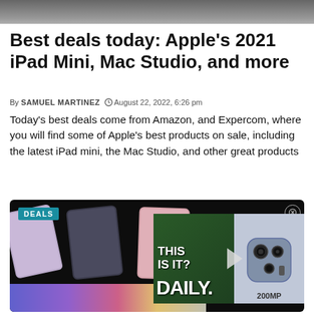[Figure (photo): Top partial image of a hand or dark background, cropped at top of page]
Best deals today: Apple's 2021 iPad Mini, Mac Studio, and more
By SAMUEL MARTINEZ  August 22, 2022, 6:26 pm
Today's best deals come from Amazon, and Expercom, where you will find some of Apple's best products on sale, including the latest iPad mini, the Mac Studio, and other great products
[Figure (screenshot): Video thumbnail showing multiple iPad mini devices in different colors on black background with a DEALS badge, overlaid with a video thumbnail showing a person with 'THIS IS IT? DAILY.' text and a 200MP camera phone image]